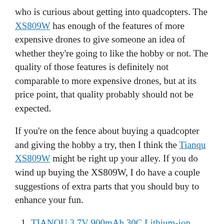who is curious about getting into quadcopters. The XS809W has enough of the features of more expensive drones to give someone an idea of whether they're going to like the hobby or not. The quality of those features is definitely not comparable to more expensive drones, but at its price point, that quality probably should not be expected.
If you're on the fence about buying a quadcopter and giving the hobby a try, then I think the Tianqu XS809W might be right up your alley. If you do wind up buying the XS809W, I do have a couple suggestions of extra parts that you should buy to enhance your fun.
TIANQU 3.7V 900mAh 30C Lithium-ion Battery for the XS809W: The 10+ minutes I got out of one battery is the longest flight time that I currently get out of any of my quadcopters. But 10 minutes still isn't very long. The extra batteries are inexpensive enough that